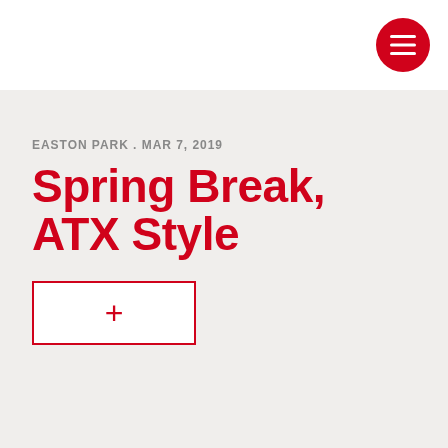[Figure (other): Red circular hamburger menu button in top-right corner of white header bar]
EASTON PARK . MAR 7, 2019
Spring Break, ATX Style
[Figure (other): White rectangle button with red border containing a red plus sign]